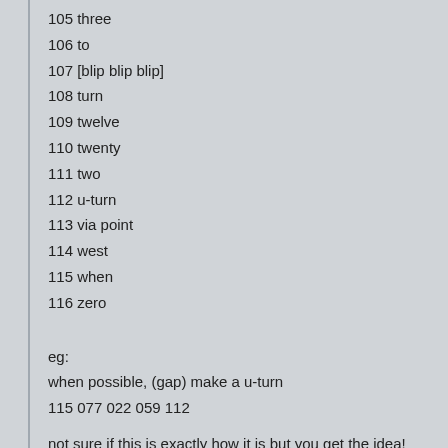105 three
106 to
107 [blip blip blip]
108 turn
109 twelve
110 twenty
111 two
112 u-turn
113 via point
114 west
115 when
116 zero
eg:
when possible, (gap) make a u-turn
115 077 022 059 112
not sure if this is exactly how it is but you get the idea!
also, i'd recommend using just the uk or usa voice files as
Part # French